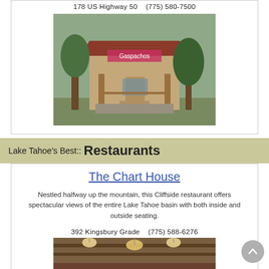178 US Highway 50    (775) 580-7500
[Figure (photo): Exterior photo of a restaurant building with wooden porch, stone pillars, trees, and a sign reading 'Gaspachos' or similar]
Lake Tahoe's Best:: Restaurants
The Chart House
Nestled halfway up the mountain, this Cliffside restaurant offers spectacular views of the entire Lake Tahoe basin with both inside and outside seating.
392 Kingsbury Grade    (775) 588-6276
[Figure (photo): Interior photo of The Chart House restaurant showing ceiling with pendant lights and wooden beams]